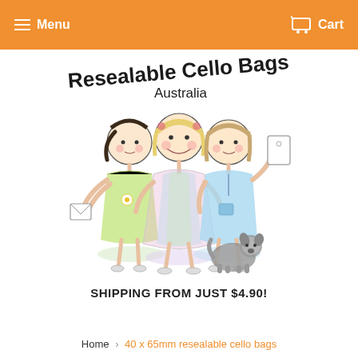Menu  Cart
[Figure (logo): Resealable Cello Bags Australia logo with illustration of three cartoon girls in colourful dresses and a small grey dog]
SHIPPING FROM JUST $4.90!
Home › 40 x 65mm resealable cello bags